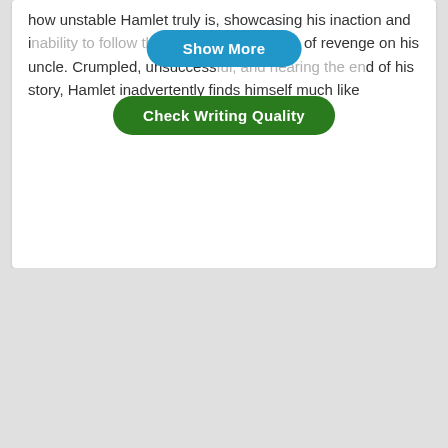how unstable Hamlet truly is, showcasing his inaction and inability to follow through on his one wish of revenge on his uncle. Crumpled, unsuccessful, and nearing the end of his story, Hamlet inadvertently finds himself much like
[Figure (screenshot): Blue 'Show More' button overlaid on text]
[Figure (screenshot): Green 'Check Writing Quality' button overlaid on text]